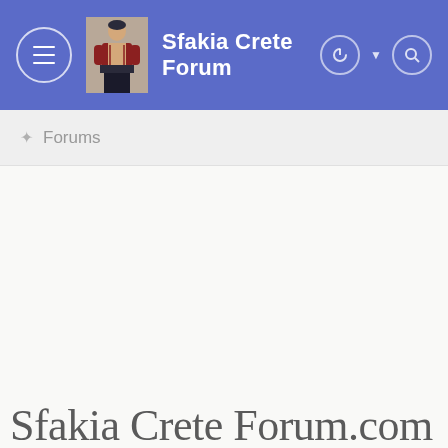Sfakia Crete Forum
Forums
Sfakia Crete Forum.com